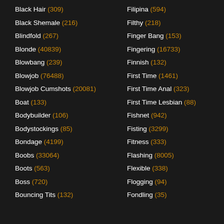Black Hair (309)
Black Shemale (216)
Blindfold (267)
Blonde (40839)
Blowbang (239)
Blowjob (76488)
Blowjob Cumshots (20081)
Boat (133)
Bodybuilder (106)
Bodystockings (85)
Bondage (4199)
Boobs (33064)
Boots (563)
Boss (720)
Bouncing Tits (132)
Filipina (594)
Filthy (218)
Finger Bang (153)
Fingering (16733)
Finnish (132)
First Time (1461)
First Time Anal (323)
First Time Lesbian (88)
Fishnet (942)
Fisting (3299)
Fitness (333)
Flashing (8005)
Flexible (338)
Flogging (94)
Fondling (35)